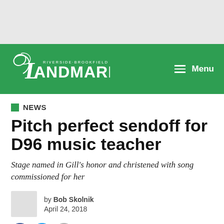[Figure (logo): Riverside-Brookfield Landmark newspaper logo in white on green header bar, with hamburger menu icon and 'Menu' text on the right]
NEWS
Pitch perfect sendoff for D96 music teacher
Stage named in Gill's honor and christened with song commissioned for her
by Bob Skolnik
April 24, 2018